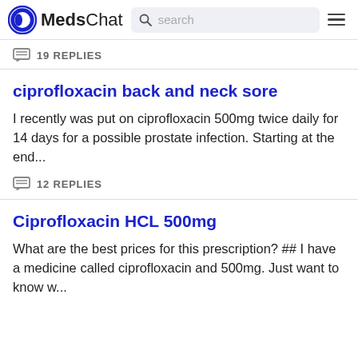MedsChat — search navigation bar
19 REPLIES
ciprofloxacin back and neck sore
I recently was put on ciprofloxacin 500mg twice daily for 14 days for a possible prostate infection. Starting at the end...
12 REPLIES
Ciprofloxacin HCL 500mg
What are the best prices for this prescription? ## I have a medicine called ciprofloxacin and 500mg. Just want to know w...